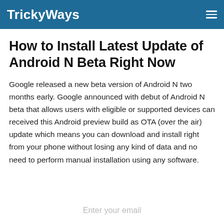TrickyWays
How to Install Latest Update of Android N Beta Right Now
Google released a new beta version of Android N two months early. Google announced with debut of Android N beta that allows users with eligible or supported devices can received this Android preview build as OTA (over the air) update which means you can download and install right from your phone without losing any kind of data and no need to perform manual installation using any software.
Enter your email